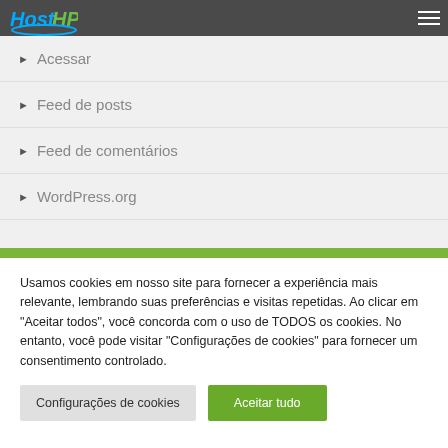HostHP
Acessar
Feed de posts
Feed de comentários
WordPress.org
Usamos cookies em nosso site para fornecer a experiência mais relevante, lembrando suas preferências e visitas repetidas. Ao clicar em "Aceitar todos", você concorda com o uso de TODOS os cookies. No entanto, você pode visitar "Configurações de cookies" para fornecer um consentimento controlado.
Configurações de cookies
Aceitar tudo